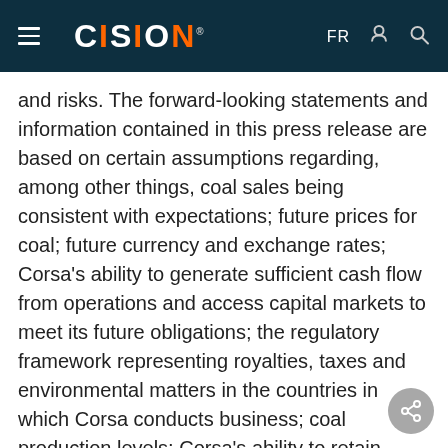CISION — FR
and risks. The forward-looking statements and information contained in this press release are based on certain assumptions regarding, among other things, coal sales being consistent with expectations; future prices for coal; future currency and exchange rates; Corsa's ability to generate sufficient cash flow from operations and access capital markets to meet its future obligations; the regulatory framework representing royalties, taxes and environmental matters in the countries in which Corsa conducts business; coal production levels; Corsa's ability to retain qualified staff and equipment in a cost-efficient manner to meet its demand; and Corsa being abl…